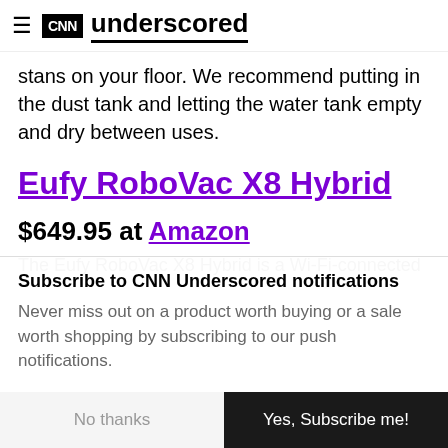CNN underscored
stains on your floor. We recommend putting in the dust tank and letting the water tank empty and dry between uses.
Eufy RoboVac X8 Hybrid
$649.95 at Amazon
The Eufy RoboVac X8 Hybrid is a Wi-Fi-connected
Subscribe to CNN Underscored notifications
Never miss out on a product worth buying or a sale worth shopping by subscribing to our push notifications.
No thanks
Yes, Subscribe me!